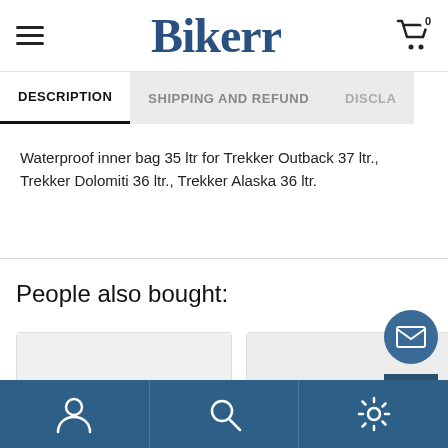Bikerr
DESCRIPTION | SHIPPING AND REFUND | DISCLA...
Waterproof inner bag 35 ltr for Trekker Outback 37 ltr., Trekker Dolomiti 36 ltr., Trekker Alaska 36 ltr.
People also bought:
[Figure (photo): Product image thumbnails - two product cards partially visible]
Navigation bar with user, search, and settings icons